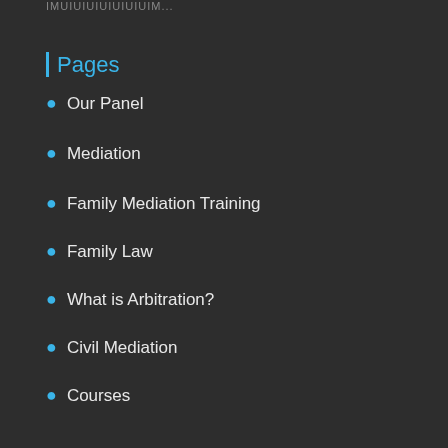IMUIUIUIUIUIUIUIM...
Pages
Our Panel
Mediation
Family Mediation Training
Family Law
What is Arbitration?
Civil Mediation
Courses
Upcoming Events
There are no upcoming events at this time.
Contact Us